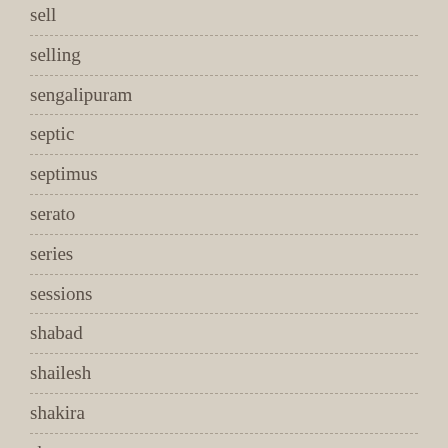sell
selling
sengalipuram
septic
septimus
serato
series
sessions
shabad
shailesh
shakira
sharp
shelf
shinee
shipping
shlomo